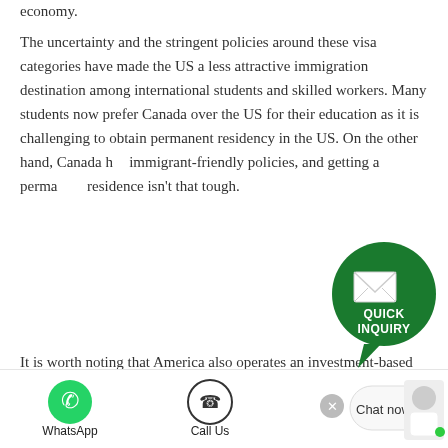economy.
The uncertainty and the stringent policies around these visa categories have made the US a less attractive immigration destination among international students and skilled workers. Many students now prefer Canada over the US for their education as it is challenging to obtain permanent residency in the US. On the other hand, Canada has immigrant-friendly policies, and getting a permanent residence isn't that tough.
[Figure (other): Quick Inquiry button — a green circular speech bubble with an envelope icon and text 'QUICK INQUIRY']
It is worth noting that America also operates an investment-based employment generation program: EB-5. The programs open the doors of permanent residency for high-net-worth foreign investors willing to invest in the US economy and generate employment for the Americans.
[Figure (other): Bottom navigation bar with WhatsApp icon and label, Call Us icon and label, a chat widget with close button and 'Chat now' text, and an avatar with a green online indicator dot.]